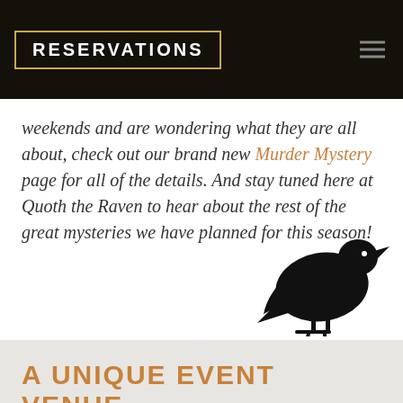RESERVATIONS
weekends and are wondering what they are all about, check out our brand new Murder Mystery page for all of the details. And stay tuned here at Quoth the Raven to hear about the rest of the great mysteries we have planned for this season!
[Figure (illustration): Black silhouette of a raven/crow standing, facing left]
A UNIQUE EVENT VENUE
Ravenwood Castle is host to events of all types!
From Murder Mysteries to Beer Tastings, Corporate